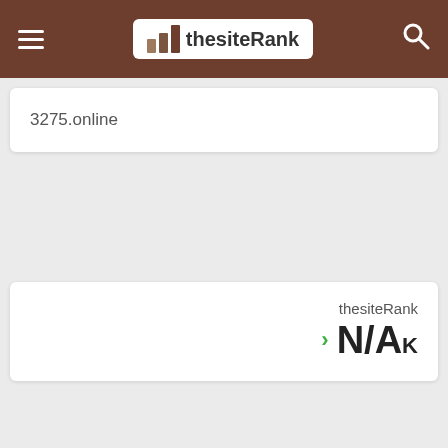thesiteRank
3275.online
thesiteRank
N/AK